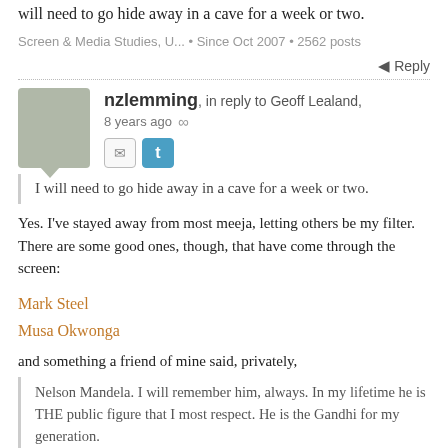will need to go hide away in a cave for a week or two.
Screen & Media Studies, U... • Since Oct 2007 • 2562 posts
Reply
nzlemming, in reply to Geoff Lealand, 8 years ago
I will need to go hide away in a cave for a week or two.
Yes. I've stayed away from most meeja, letting others be my filter. There are some good ones, though, that have come through the screen:
Mark Steel
Musa Okwonga
and something a friend of mine said, privately,
Nelson Mandela. I will remember him, always. In my lifetime he is THE public figure that I most respect. He is the Gandhi for my generation.